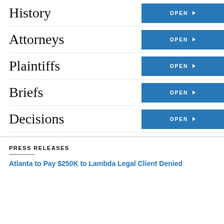History
Attorneys
Plaintiffs
Briefs
Decisions
PRESS RELEASES
Atlanta to Pay $250K to Lambda Legal Client Denied